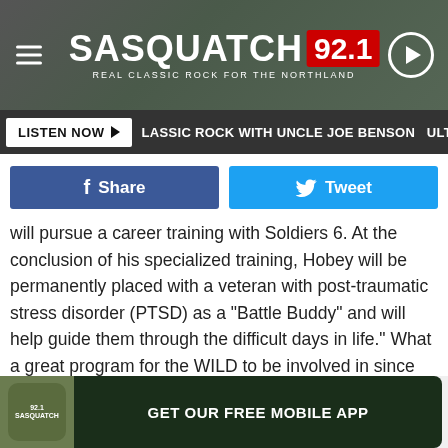[Figure (logo): Sasquatch 92.1 radio station header banner with hamburger menu, logo, and play button]
LISTEN NOW ▶  LASSIC ROCK WITH UNCLE JOE BENSON  ULTIMA
will pursue a career training with Soldiers 6. At the conclusion of his specialized training, Hobey will be permanently placed with a veteran with post-traumatic stress disorder (PTSD) as a "Battle Buddy" and will help guide them through the difficult days in life." What a great program for the WILD to be involved in since the cost of training and adopting these special dogs is very expensive and could be out of reach for so many.
[Figure (infographic): Get Our Free Mobile App banner with Sasquatch 92.1 app icon and dark button]